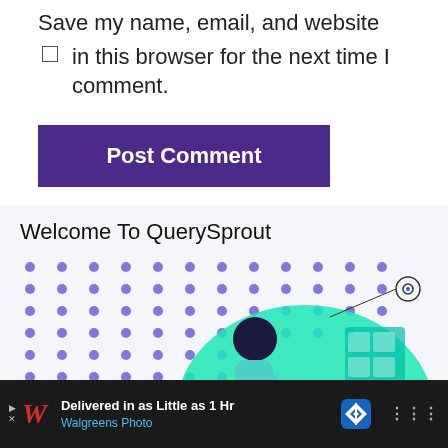Save my name, email, and website in this browser for the next time I comment.
Post Comment
Welcome To QuerySprout
[Figure (illustration): Illustration of a person holding a phone, standing in front of shelves, with a purple dot grid pattern background and a circular target icon on the right.]
Delivered in as Little as 1 Hr Walgreens Photo